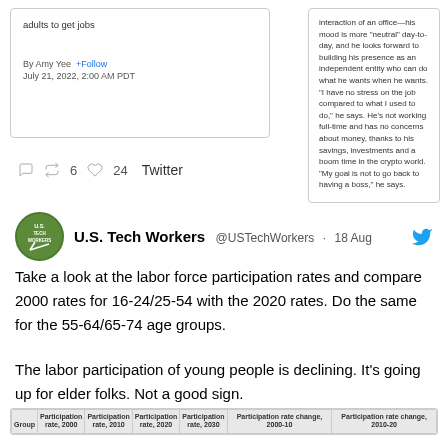By Amy Yee  +Follow
July 21, 2022, 2:00 AM PDT
interaction of an office—his mood is more "neutral" day-to-day, and he looks forward to building his presence as an independent entity who can do what he wants when he wants. "I have no stress on the job compared to what I used to do," he says. He's not working full-time and has no concerns about money, thanks to his savings, investments and a boom time in the crypto world. "My goal is not to go back to having a boss," he says.
6  24  Twitter
U.S. Tech Workers @USTechWorkers · 18 Aug
Take a look at the labor force participation rates and compare 2000 rates for 16-24/25-54 with the 2020 rates. Do the same for the 55-64/65-74 age groups.
The labor participation of young people is declining. It's going up for elder folks. Not a good sign.
| Group | Participation rate, 2000 | Participation rate, 2010 | Participation rate, 2020 | Participation rate, 2030 | Participation rate change, 2000-10 | Participation rate change, 2010-20 |
| --- | --- | --- | --- | --- | --- | --- |